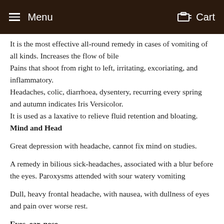Menu   Cart
It is the most effective all-round remedy in cases of vomiting of all kinds. Increases the flow of bile
Pains that shoot from right to left, irritating, excoriating, and inflammatory.
Headaches, colic, diarrhoea, dysentery, recurring every spring and autumn indicates Iris Versicolor.
It is used as a laxative to relieve fluid retention and bloating.
Mind and Head
Great depression with headache, cannot fix mind on studies.
A remedy in bilious sick-headaches, associated with a blur before the eyes. Paroxysms attended with sour watery vomiting
Dull, heavy frontal headache, with nausea, with dullness of eyes and pain over worse rest.
Eyes, ear, nose
Inflammation of eyelids, violent pains in both supraorbital